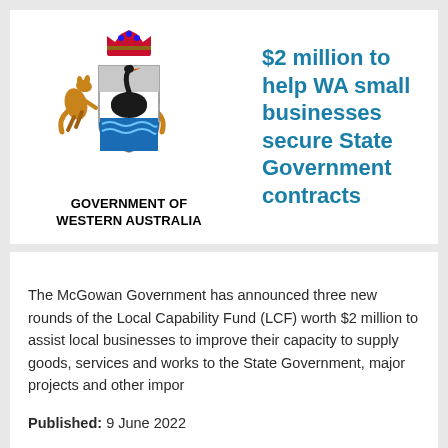[Figure (logo): Government of Western Australia coat of arms logo with two kangaroos flanking a shield containing a black swan, topped with a crown. Text below reads GOVERNMENT OF WESTERN AUSTRALIA.]
$2 million to help WA small businesses secure State Government contracts
The McGowan Government has announced three new rounds of the Local Capability Fund (LCF) worth $2 million to assist local businesses to improve their capacity to supply goods, services and works to the State Government, major projects and other impor
Published: 9 June 2022